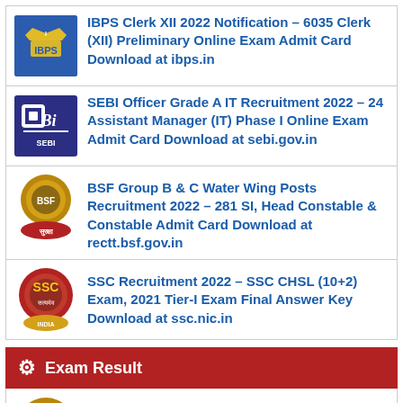IBPS Clerk XII 2022 Notification – 6035 Clerk (XII) Preliminary Online Exam Admit Card Download at ibps.in
SEBI Officer Grade A IT Recruitment 2022 – 24 Assistant Manager (IT) Phase I Online Exam Admit Card Download at sebi.gov.in
BSF Group B & C Water Wing Posts Recruitment 2022 – 281 SI, Head Constable & Constable Admit Card Download at rectt.bsf.gov.in
SSC Recruitment 2022 – SSC CHSL (10+2) Exam, 2021 Tier-I Exam Final Answer Key Download at ssc.nic.in
Exam Result
Bihar Police BPSSC Recr... 1998 Police Sub Inspecto...